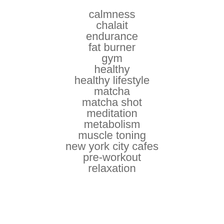calmness
chalait
endurance
fat burner
gym
healthy
healthy lifestyle
matcha
matcha shot
meditation
metabolism
muscle toning
new york city cafes
pre-workout
relaxation